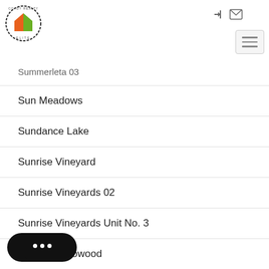Coady Realty Elite — navigation header with logo and hamburger menu
Summerleta 03
Sun Meadows
Sundance Lake
Sunrise Vineyard
Sunrise Vineyards 02
Sunrise Vineyards Unit No. 3
Sunrise Willowood
…wnstones